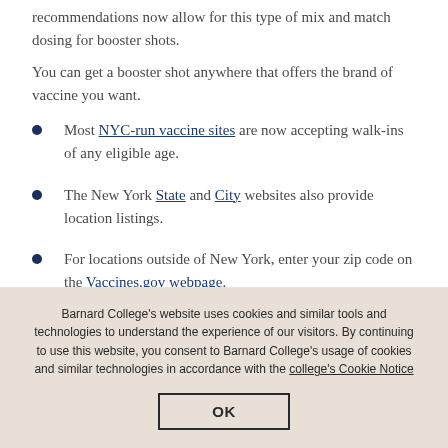recommendations now allow for this type of mix and match dosing for booster shots.
You can get a booster shot anywhere that offers the brand of vaccine you want.
Most NYC-run vaccine sites are now accepting walk-ins of any eligible age.
The New York State and City websites also provide location listings.
For locations outside of New York, enter your zip code on the Vaccines.gov webpage.
Barnard College's website uses cookies and similar tools and technologies to understand the experience of our visitors. By continuing to use this website, you consent to Barnard College's usage of cookies and similar technologies in accordance with the college's Cookie Notice